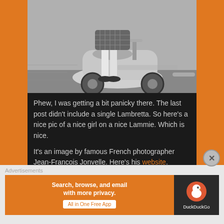[Figure (photo): Black and white photograph showing legs of a girl sitting on a Lambretta scooter, wearing flat shoes and a plaid skirt, mid-motion shot]
Phew, I was getting a bit panicky there. The last post didn't include a single Lambretta. So here's a nice pic of a nice girl on a nice Lammie. Which is nice.
It's an image by famous French photographer Jean-Francois Jonvelle. Here's his website.
Advertisements
[Figure (screenshot): DuckDuckGo advertisement banner: 'Search, browse, and email with more privacy. All in One Free App' with DuckDuckGo duck logo on dark background]